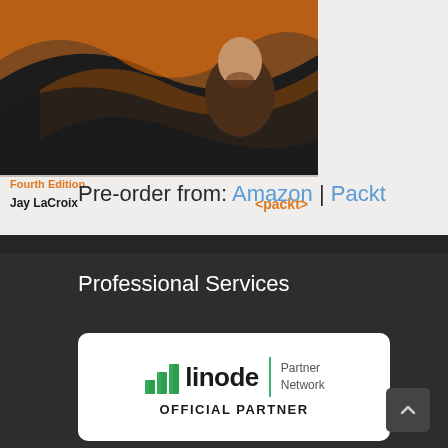[Figure (photo): Book cover showing Fourth Edition by Jay LaCroix, published by Packt, with orange wave design and author photo]
Fourth Edition
Jay LaCroix   <packt>
Pre-order from: Amazon | Packt
Professional Services
[Figure (logo): Linode Partner Network Official Partner badge - white rounded rectangle with green leaf logo, linode text, vertical green divider, Partner Network text, and OFFICIAL PARTNER text below]